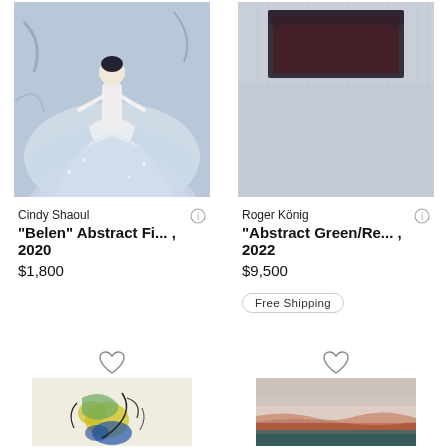[Figure (photo): Painting of a woman in a white ballgown dress, abstract figurative style, blue tones]
[Figure (photo): Abstract painting with dark rectangular form at top, gray/blue textured background]
Cindy Shaoul
"Belen" Abstract Fi... , 2020
$1,800
Roger König
"Abstract Green/Re... , 2022
$9,500
Free Shipping
[Figure (photo): Abstract painting with yellow, blue and green shapes on cream background, gestural style]
[Figure (photo): Blurry landscape photo with orange/red tones at horizon, teal water below, soft focus]